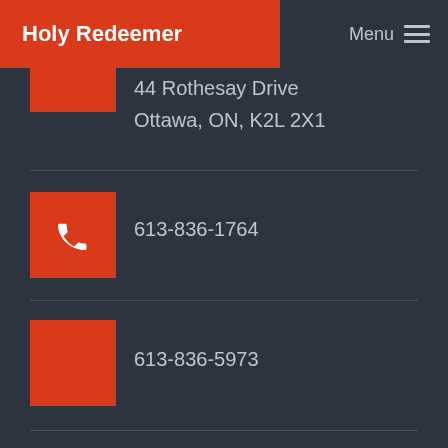Holy Redeemer
Menu
44 Rothesay Drive
Ottawa, ON, K2L 2X1
613-836-1764
613-836-5973
Facebook
YouTube